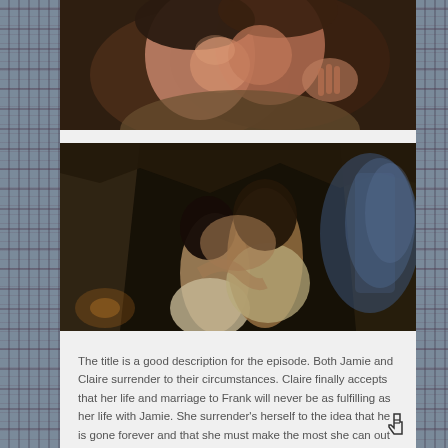[Figure (photo): Two people (a man and woman) leaning close together, nearly kissing, in a romantic scene. Warm tones, close-up shot.]
[Figure (photo): A man and woman kissing in what appears to be a cave or rocky setting with dramatic blue/dark lighting in the background. The man is wearing a light-colored shirt.]
The title is a good description for the episode. Both Jamie and Claire surrender to their circumstances. Claire finally accepts that her life and marriage to Frank will never be as fulfilling as her life with Jamie. She surrender's herself to the idea that he is gone forever and that she must make the most she can out of her life in